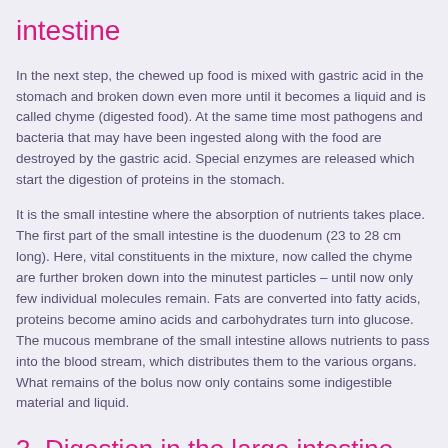intestine
In the next step, the chewed up food is mixed with gastric acid in the stomach and broken down even more until it becomes a liquid and is called chyme (digested food). At the same time most pathogens and bacteria that may have been ingested along with the food are destroyed by the gastric acid. Special enzymes are released which start the digestion of proteins in the stomach.
It is the small intestine where the absorption of nutrients takes place. The first part of the small intestine is the duodenum (23 to 28 cm long). Here, vital constituents in the mixture, now called the chyme are further broken down into the minutest particles – until now only few individual molecules remain. Fats are converted into fatty acids, proteins become amino acids and carbohydrates turn into glucose. The mucous membrane of the small intestine allows nutrients to pass into the blood stream, which distributes them to the various organs. What remains of the bolus now only contains some indigestible material and liquid.
3. Digestion in the large intestine